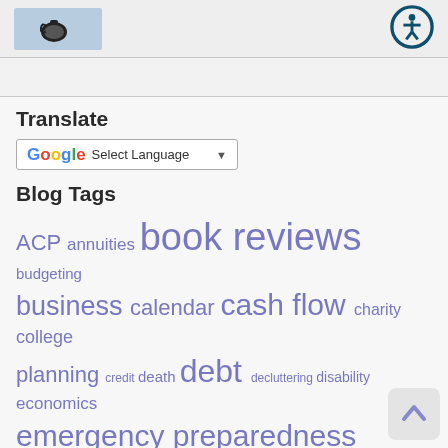[Figure (logo): Small teapot logo on light blue background, top left header]
[Figure (illustration): Accessibility icon (person in circle) in dark teal, top right header]
Translate
[Figure (screenshot): Google Translate widget with G logo, Select Language text and dropdown arrow]
Blog Tags
ACP annuities book reviews budgeting business calendar cash flow charity college planning credit death debt decluttering disability economics emergency preparedness estate planning financial advising financial literacy financial planning financial wellness gifting HECM